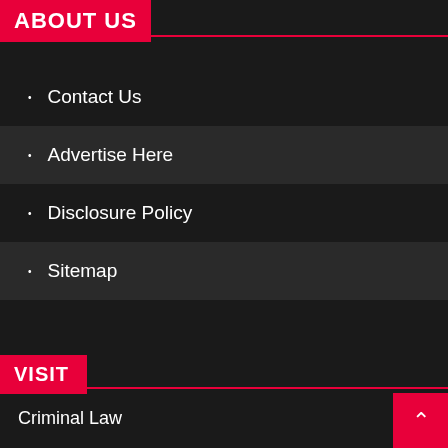ABOUT US
Contact Us
Advertise Here
Disclosure Policy
Sitemap
VISIT
Criminal Law